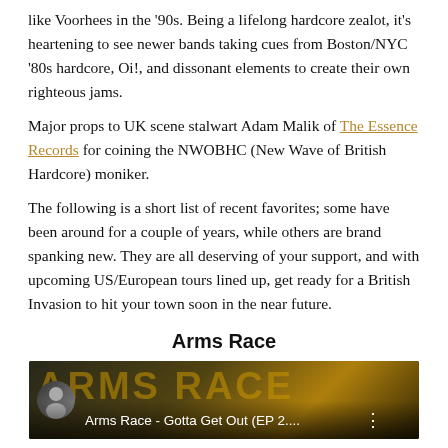like Voorhees in the '90s. Being a lifelong hardcore zealot, it's heartening to see newer bands taking cues from Boston/NYC '80s hardcore, Oi!, and dissonant elements to create their own righteous jams.
Major props to UK scene stalwart Adam Malik of The Essence Records for coining the NWOBHC (New Wave of British Hardcore) moniker.
The following is a short list of recent favorites; some have been around for a couple of years, while others are brand spanking new. They are all deserving of your support, and with upcoming US/European tours lined up, get ready for a British Invasion to hit your town soon in the near future.
Arms Race
[Figure (screenshot): Video thumbnail showing Arms Race band imagery with golden/dark background lettering and caption 'Arms Race - Gotta Get Out (EP 2....']